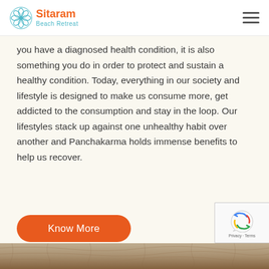Sitaram Beach Retreat
you have a diagnosed health condition, it is also something you do in order to protect and sustain a healthy condition. Today, everything in our society and lifestyle is designed to make us consume more, get addicted to the consumption and stay in the loop. Our lifestyles stack up against one unhealthy habit over another and Panchakarma holds immense benefits to help us recover.
[Figure (other): Orange rounded rectangle button labeled 'Know More']
[Figure (logo): WhatsApp green circle chat icon button]
[Figure (other): reCAPTCHA widget with Privacy - Terms text]
[Figure (photo): Bottom strip showing a textured stone or sand surface image]